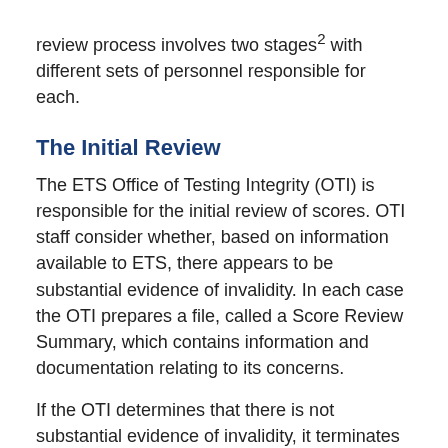review process involves two stages² with different sets of personnel responsible for each.
The Initial Review
The ETS Office of Testing Integrity (OTI) is responsible for the initial review of scores. OTI staff consider whether, based on information available to ETS, there appears to be substantial evidence of invalidity. In each case the OTI prepares a file, called a Score Review Summary, which contains information and documentation relating to its concerns.
If the OTI determines that there is not substantial evidence of invalidity, it terminates the review and sends any scores not already reported to the test taker and designated score recipients. Any score recipients that have raised questions about the scores are then advised that ETS found no score validity issues that would cause ETS to cancel the